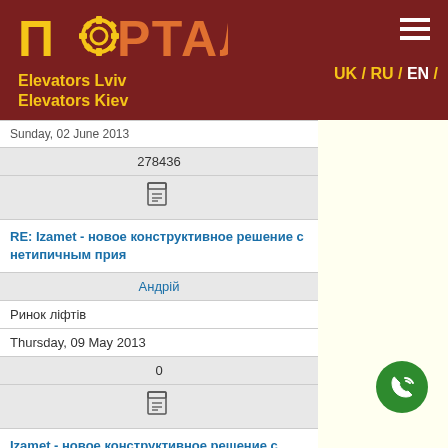ПОРТАЛ — Elevators Lviv / Elevators Kiev — UK / RU / EN
Sunday, 02 June 2013
278436
[Figure (other): Document icon]
RE: Izamet - новое конструктивное решение с нетипичным прия
Андрій
Ринок ліфтів
Thursday, 09 May 2013
0
[Figure (other): Document icon]
Izamet - новое конструктивное решение с нетипичным прнямк
Іван